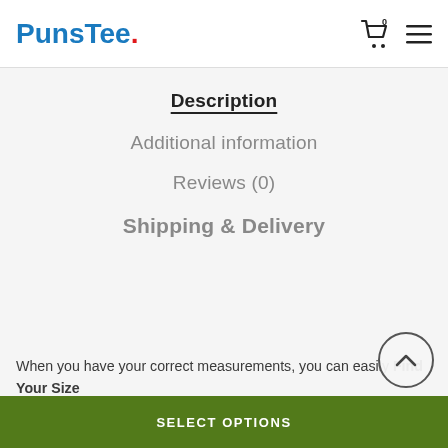PunsTee.
Description
Additional information
Reviews (0)
Shipping & Delivery
When you have your correct measurements, you can easily Find Your Size
Estimated 10 business days of production + shipping ti...
SELECT OPTIONS